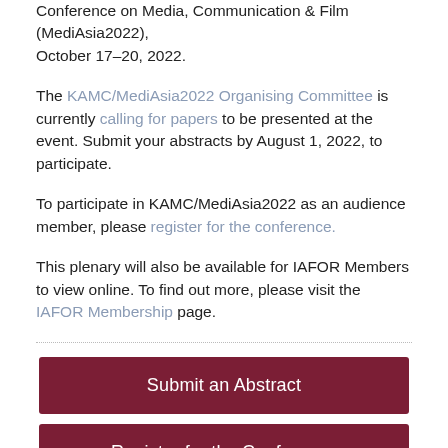Conference on Media, Communication & Film (MediAsia2022), October 17–20, 2022.
The KAMC/MediAsia2022 Organising Committee is currently calling for papers to be presented at the event. Submit your abstracts by August 1, 2022, to participate.
To participate in KAMC/MediAsia2022 as an audience member, please register for the conference.
This plenary will also be available for IAFOR Members to view online. To find out more, please visit the IAFOR Membership page.
Submit an Abstract
Register for the Conference